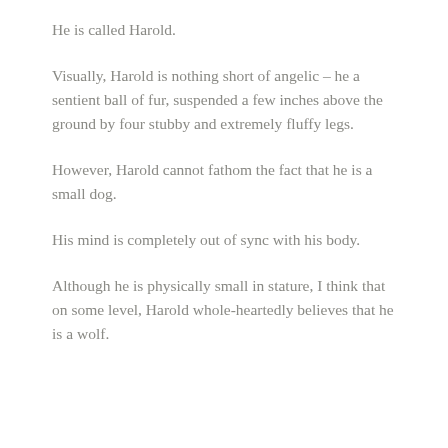He is called Harold.
Visually, Harold is nothing short of angelic – he a sentient ball of fur, suspended a few inches above the ground by four stubby and extremely fluffy legs.
However, Harold cannot fathom the fact that he is a small dog.
His mind is completely out of sync with his body.
Although he is physically small in stature, I think that on some level, Harold whole-heartedly believes that he is a wolf.